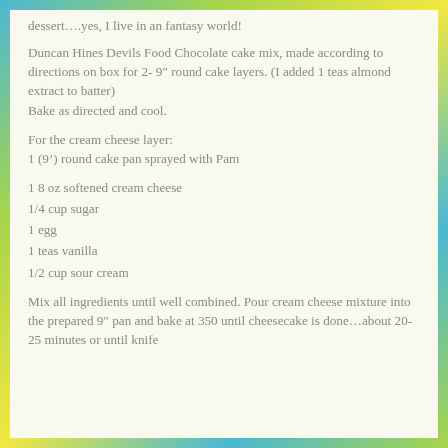dessert….yes, I live in an fantasy world!
Duncan Hines Devils Food Chocolate cake mix, made according to directions on box for 2- 9″ round cake layers. (I added 1 teas almond extract to batter) Bake as directed and cool.
For the cream cheese layer:
1 (9′) round cake pan sprayed with Pam
1 8 oz softened cream cheese
1/4 cup sugar
1 egg
1 teas vanilla
1/2 cup sour cream
Mix all ingredients until well combined. Pour cream cheese mixture into the prepared 9″ pan and bake at 350 until cheesecake is done…about 20-25 minutes or until knife